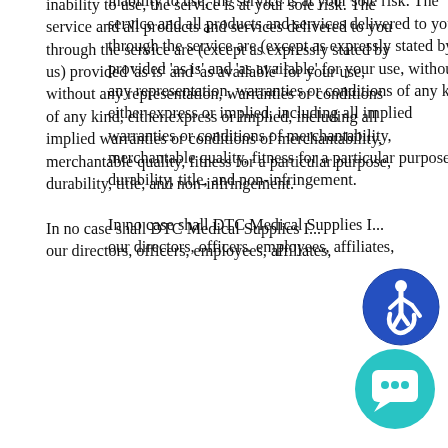inability to use, the service is at your sole risk. The service and all products and services delivered to you through the service are (except as expressly stated by us) provided 'as is' and 'as available' for your use, without any representation, warranties or conditions of any kind, either express or implied, including all implied warranties or conditions of merchantability, merchantable quality, fitness for a particular purpose, durability, title, and non-infringement.

In no case shall DTC Medical Supplies I... our directors, officers, employees, affiliates,
[Figure (illustration): Blue circular accessibility icon with wheelchair user symbol]
[Figure (illustration): Teal circular chat/message button icon]